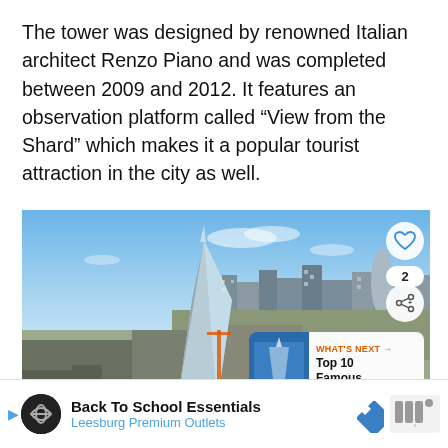The tower was designed by renowned Italian architect Renzo Piano and was completed between 2009 and 2012. It features an observation platform called “View from the Shard” which makes it a popular tourist attraction in the city as well.
[Figure (photo): Aerial photograph of London skyline featuring The Shard skyscraper prominently on the left, with the City of London financial district visible in the background under a blue sky. UI overlay elements include a heart/like button, share count of 2, share button, and a 'What's Next' preview panel showing 'Top 10 Famous...' with a small circular thumbnail.]
WHAT’S NEXT → Top 10 Famous...
Back To School Essentials
Leesburg Premium Outlets